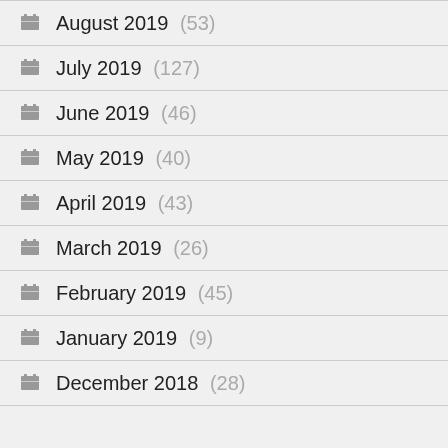August 2019 (53)
July 2019 (127)
June 2019 (46)
May 2019 (40)
April 2019 (43)
March 2019 (26)
February 2019 (45)
January 2019 (9)
December 2018 (28)